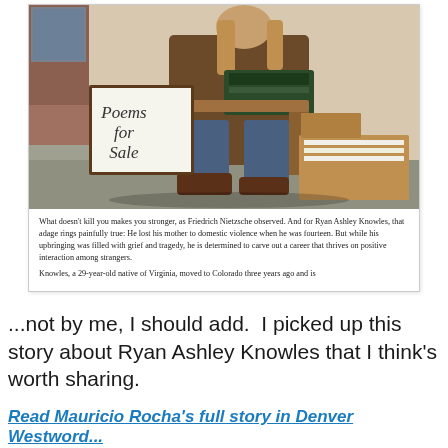[Figure (photo): Person sitting outdoors on a chair with a typewriter, next to a handwritten sign reading 'Poems for Sale' and an open cardboard box with papers inside. The person is wearing jeans, brown boots, and a brown jacket, photographed on a sidewalk.]
What doesn't kill you makes you stronger, as Friedrich Nietzsche observed. And for Ryan Ashley Knowles, that adage rings painfully true: He lost his mother to domestic violence when he was fourteen. But while his upbringing was filled with grief and tragedy, he is determined to carve out a career that thrives on positive interaction among strangers.

Knowles, a 29-year-old native of Virginia, moved to Colorado three years ago and is
...not by me, I should add.  I picked up this story about Ryan Ashley Knowles that I think's worth sharing.
Read Mauricio Rocha's full story in Denver Westword...